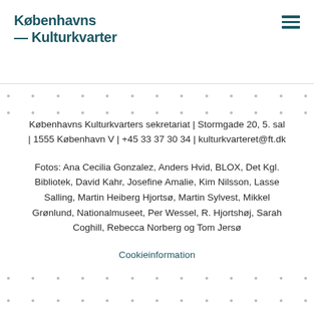Københavns Kulturkvarter
Københavns Kulturkvarters sekretariat | Stormgade 20, 5. sal | 1555 København V | +45 33 37 30 34 | kulturkvarteret@ft.dk
Fotos: Ana Cecilia Gonzalez, Anders Hvid, BLOX, Det Kgl. Bibliotek, David Kahr, Josefine Amalie, Kim Nilsson, Lasse Salling, Martin Heiberg Hjortsø, Martin Sylvest, Mikkel Grønlund, Nationalmuseet, Per Wessel, R. Hjortshøj, Sarah Coghill, Rebecca Norberg og Tom Jersø
Cookieinformation